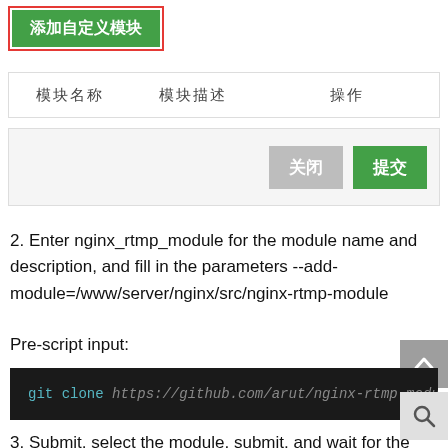[Figure (screenshot): Green button labeled '添加自定义模块' (Add custom module) with red border highlight, followed by a table header row with columns '模块名称' (Module name), '模块描述' (Module description), '操作' (Operation), and a dialog panel with '关闭' (Close) and '提交' (Submit) buttons.]
2. Enter nginx_rtmp_module for the module name and description, and fill in the parameters --add-module=/www/server/nginx/src/nginx-rtmp-module
Pre-script input:
[Figure (screenshot): Dark code block showing: git clone https://github.com/arut/nginx-rtmp-module.git]
3. Submit, select the module, submit, and wait for the